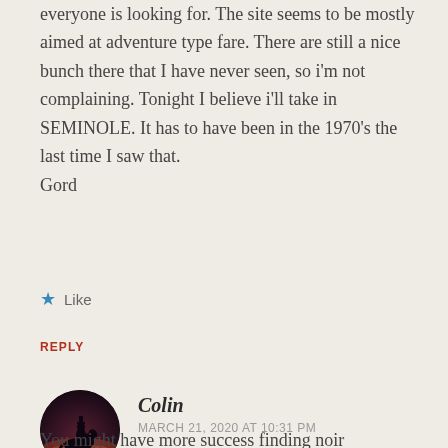everyone is looking for. The site seems to be mostly aimed at adventure type fare. There are still a nice bunch there that I have never seen, so i'm not complaining. Tonight I believe i'll take in SEMINOLE. It has to have been in the 1970's the last time I saw that.
Gord
★ Like
REPLY
Colin
MARCH 21, 2020 AT 10:31 PM
You might have more success finding noir